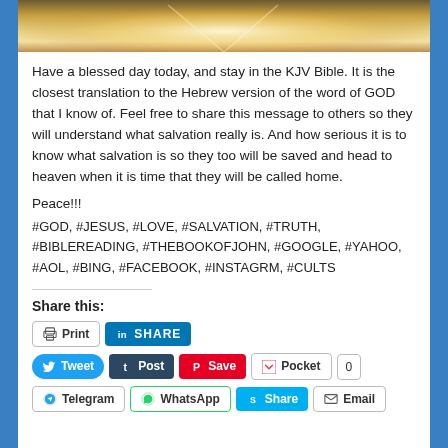[Figure (photo): Photo strip showing a bright golden/amber light background, likely a sunrise or religious imagery]
Have a blessed day today, and stay in the KJV Bible. It is the closest translation to the Hebrew version of the word of GOD that I know of. Feel free to share this message to others so they will understand what salvation really is. And how serious it is to know what salvation is so they too will be saved and head to heaven when it is time that they will be called home.
Peace!!!
#GOD, #JESUS, #LOVE, #SALVATION, #TRUTH, #BIBLEREADING, #THEBOOKOFJOHN, #GOOGLE, #YAHOO, #AOL, #BING, #FACEBOOK, #INSTAGRM, #CULTS
Share this:
Print | SHARE | Tweet | Post | Save | Pocket | 0 | Telegram | WhatsApp | Share | Email